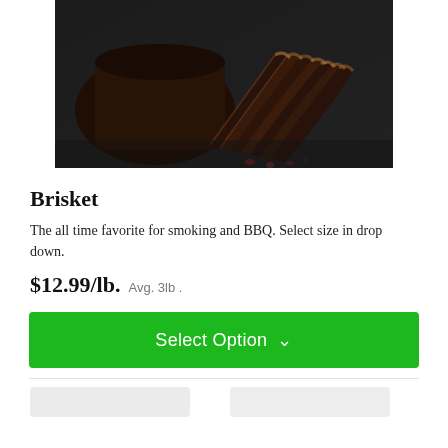[Figure (photo): Sliced smoked brisket on a dark slate surface, showing a dark bark exterior with slices fanned out revealing a smoke ring interior]
Brisket
The all time favorite for smoking and BBQ. Select size in drop down.
$12.99/lb. Avg. 3lb .
Select Option
[Figure (photo): Partial bottom product images visible, cut off at page edge]